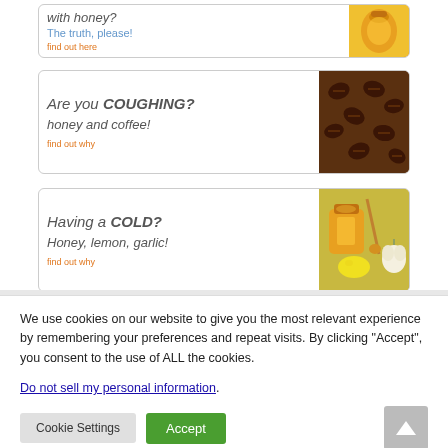[Figure (illustration): Ad banner: 'with honey? The truth, please! find out here' with honey jar image]
[Figure (illustration): Ad banner: 'Are you COUGHING? honey and coffee! find out why' with coffee beans image]
[Figure (illustration): Ad banner: 'Having a COLD? Honey, lemon, garlic! find out why' with honey jar, lemon, garlic image]
We use cookies on our website to give you the most relevant experience by remembering your preferences and repeat visits. By clicking “Accept”, you consent to the use of ALL the cookies.
Do not sell my personal information.